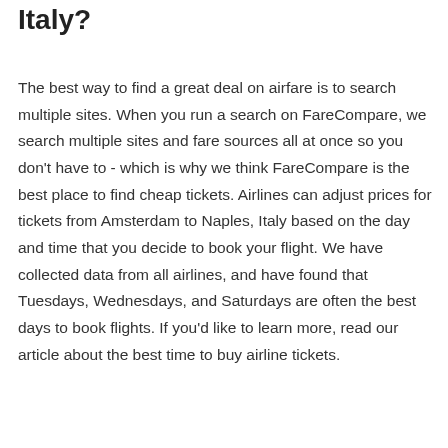Italy?
The best way to find a great deal on airfare is to search multiple sites. When you run a search on FareCompare, we search multiple sites and fare sources all at once so you don't have to - which is why we think FareCompare is the best place to find cheap tickets. Airlines can adjust prices for tickets from Amsterdam to Naples, Italy based on the day and time that you decide to book your flight. We have collected data from all airlines, and have found that Tuesdays, Wednesdays, and Saturdays are often the best days to book flights. If you'd like to learn more, read our article about the best time to buy airline tickets.